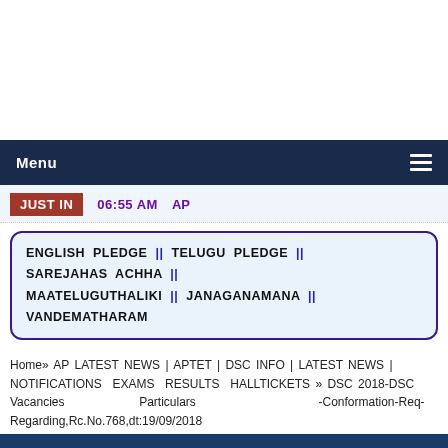Menu
JUST IN   06:55 AM   AP
ENGLISH PLEDGE || TELUGU PLEDGE || SAREJAHAS ACHHA || MAATELUGUTHALIKI || JANAGANAMANA || VANDEMATHARAM
Home» AP LATEST NEWS | APTET | DSC INFO | LATEST NEWS | NOTIFICATIONS EXAMS RESULTS HALLTICKETS » DSC 2018-DSC Vacancies Particulars -Conformation-Req- Regarding,Rc.No.768,dt:19/09/2018
DSC 2018-DSC Vacancies Particulars - Conformation-Req-